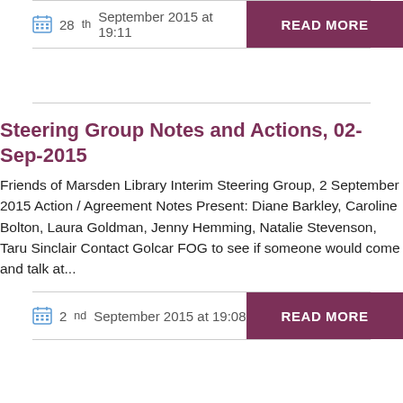28th September 2015 at 19:11
READ MORE
Steering Group Notes and Actions, 02-Sep-2015
Friends of Marsden Library Interim Steering Group, 2 September 2015 Action / Agreement Notes Present: Diane Barkley, Caroline Bolton, Laura Goldman, Jenny Hemming, Natalie Stevenson, Taru Sinclair Contact Golcar FOG to see if someone would come and talk at...
2nd September 2015 at 19:08
READ MORE